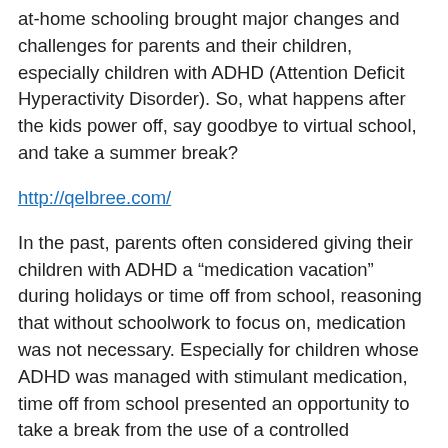at-home schooling brought major changes and challenges for parents and their children, especially children with ADHD (Attention Deficit Hyperactivity Disorder). So, what happens after the kids power off, say goodbye to virtual school, and take a summer break?
http://qelbree.com/
In the past, parents often considered giving their children with ADHD a “medication vacation” during holidays or time off from school, reasoning that without schoolwork to focus on, medication was not necessary. Especially for children whose ADHD was managed with stimulant medication, time off from school presented an opportunity to take a break from the use of a controlled substance, and limit the